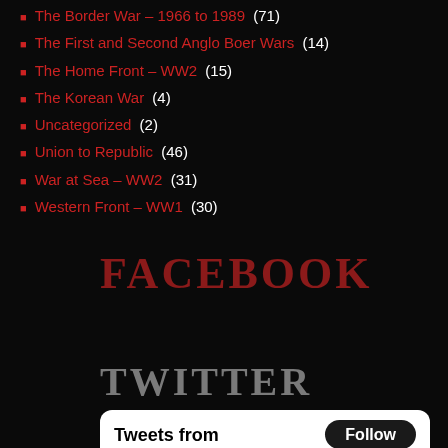The Border War – 1966 to 1989 (71)
The First and Second Anglo Boer Wars (14)
The Home Front – WW2 (15)
The Korean War (4)
Uncategorized (2)
Union to Republic (46)
War at Sea – WW2 (31)
Western Front – WW1 (30)
FACEBOOK
TWITTER
Tweets from   Follow